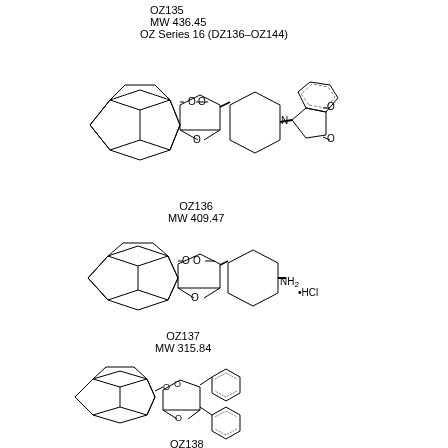OZ135
MW 436.45
OZ Series 16 (DZ136–OZ144)
[Figure (other): Chemical structure of OZ136: adamantane spiro trioxolane connected to piperidine ring bearing a phthalimide (isoindole-1,3-dione) substituent]
OZ136
MW 409.47
[Figure (other): Chemical structure of OZ137: adamantane spiro trioxolane connected to cyclohexane ring with equatorial amino group as HCl salt]
OZ137
MW 315.84
[Figure (other): Chemical structure of OZ138: adamantane spiro trioxolane connected to a spiro center bearing a phenyl group and a 4-(methoxycarbonyl)phenyl group]
OZ138